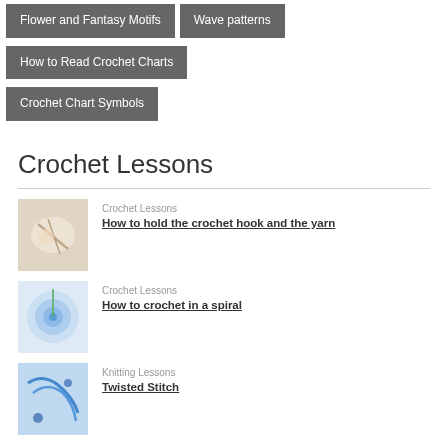Flower and Fantasy Motifs
Wave patterns
How to Read Crochet Charts
Crochet Chart Symbols
Crochet Lessons
Crochet Lessons
How to hold the crochet hook and the yarn
Crochet Lessons
How to crochet in a spiral
Knitting Lessons
Twisted Stitch